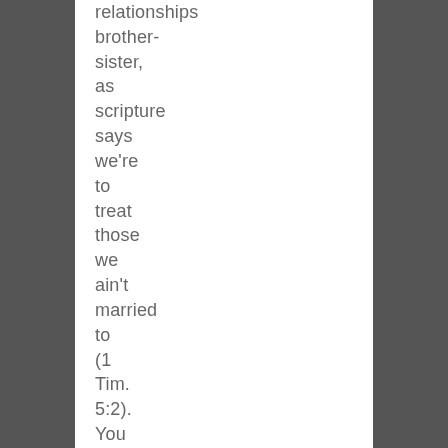relationships brother-sister, as scripture says we're to treat those we ain't married to (1 Tim. 5:2). You don't invest your heart and